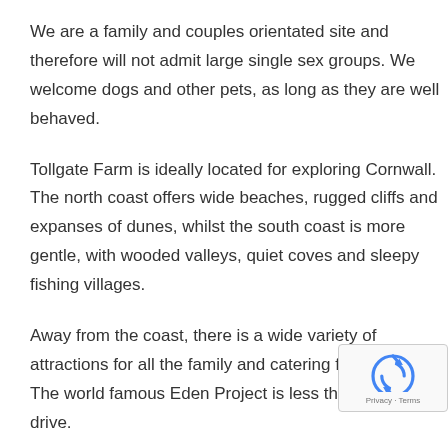We are a family and couples orientated site and therefore will not admit large single sex groups. We welcome dogs and other pets, as long as they are well behaved.
Tollgate Farm is ideally located for exploring Cornwall. The north coast offers wide beaches, rugged cliffs and expanses of dunes, whilst the south coast is more gentle, with wooded valleys, quiet coves and sleepy fishing villages.
Away from the coast, there is a wide variety of attractions for all the family and catering for all tastes. The world famous Eden Project is less than 30 minutes drive.
Come and meet our ponies, goats, Hedley the Llama, the guinea pigs and rabbits.
Tollgate Farm Caravan and Camping Park offers the park f...
[Figure (logo): reCAPTCHA badge with blue recycle-style icon and 'Privacy - Terms' text]